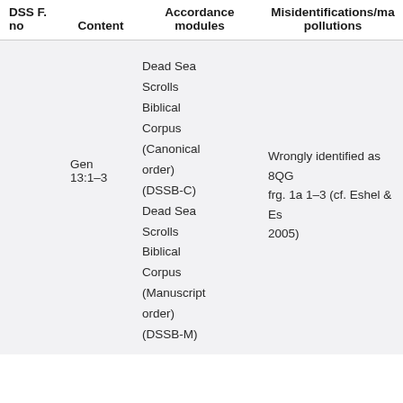| DSS F. no | Content | Accordance modules | Misidentifications/ma pollutions |
| --- | --- | --- | --- |
|  | Gen 13:1–3 | Dead Sea Scrolls Biblical Corpus (Canonical order) (DSSB-C) Dead Sea Scrolls Biblical Corpus (Manuscript order) (DSSB-M) | Wrongly identified as 8QG frg. 1a 1–3 (cf. Eshel & Es 2005) |
|  |  |  |  |